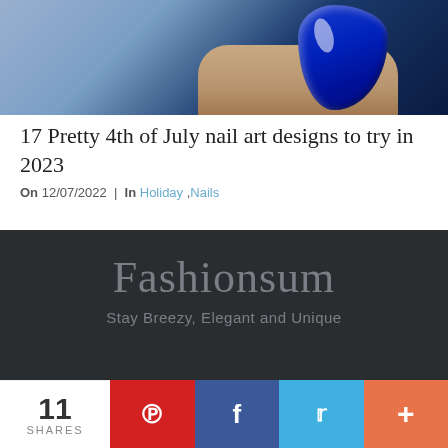[Figure (photo): Close-up of a hand with blue nail polish against a blue background]
17 Pretty 4th of July nail art designs to try in 2023
On 12/07/2022 | In Holiday ,Nails
[Figure (logo): Fashionsum website logo with tagline 'Stay Breezy, Elegant and Unique' on dark background]
11 SHARES | Pinterest | Facebook | Twitter | More